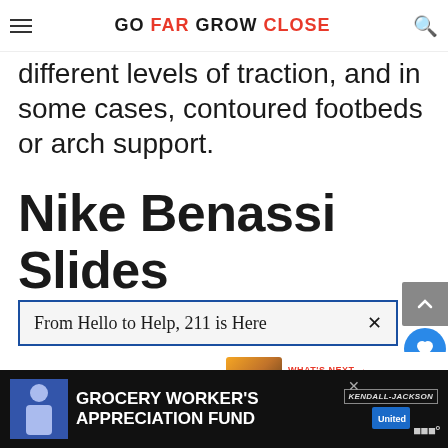GO FAR GROW CLOSE
different levels of traction, and in some cases, contoured footbeds or arch support.
Nike Benassi Slides
[Figure (infographic): Advertisement banner with dark blue border reading 'From Hello to Help, 211 is Here' with close X button]
[Figure (infographic): What's Next panel with thumbnail image and text '11 Best NEW BALANCE S...']
[Figure (infographic): Bottom advertisement bar: Grocery Worker's Appreciation Fund with Kendall Jackson and United Way logos]